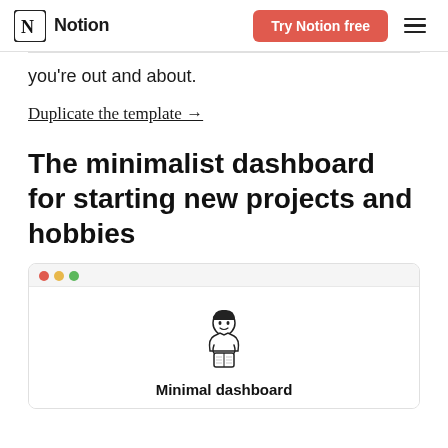Notion — Try Notion free
you're out and about.
Duplicate the template →
The minimalist dashboard for starting new projects and hobbies
[Figure (screenshot): Notion app preview window with traffic light buttons (red, yellow, green), showing a minimalist dashboard illustration of a person reading, with 'Minimal dashboard' text below.]